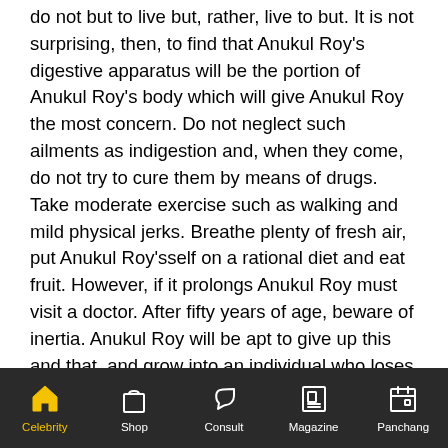do not but to live but, rather, live to but. It is not surprising, then, to find that Anukul Roy's digestive apparatus will be the portion of Anukul Roy's body which will give Anukul Roy the most concern. Do not neglect such ailments as indigestion and, when they come, do not try to cure them by means of drugs. Take moderate exercise such as walking and mild physical jerks. Breathe plenty of fresh air, put Anukul Roy'sself on a rational diet and eat fruit. However, if it prolongs Anukul Roy must visit a doctor. After fifty years of age, beware of inertia. Anukul Roy will be apt to give up this and that, and grow into an individual who loses his hold on life. Keep up Anukul Roy's interest in things, develop Anukul Roy's hobbies and remember that
Celebrity | Shop | Consult | Magazine | Panchang